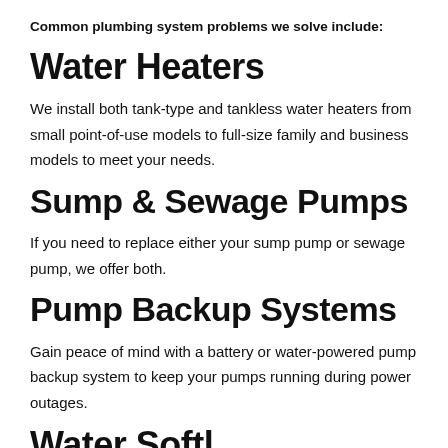Common plumbing system problems we solve include:
Water Heaters
We install both tank-type and tankless water heaters from small point-of-use models to full-size family and business models to meet your needs.
Sump & Sewage Pumps
If you need to replace either your sump pump or sewage pump, we offer both.
Pump Backup Systems
Gain peace of mind with a battery or water-powered pump backup system to keep your pumps running during power outages.
Water Softl...